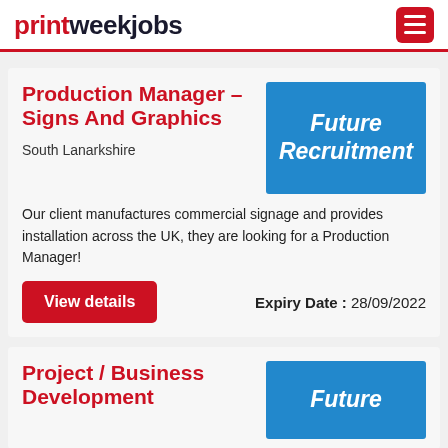printweekjobs
Production Manager – Signs And Graphics
South Lanarkshire
[Figure (logo): Future Recruitment company logo on blue background]
Our client manufactures commercial signage and provides installation across the UK, they are looking for a Production Manager!
Expiry Date : 28/09/2022
View details
Project / Business Development
[Figure (logo): Future Recruitment company logo on blue background, partially visible]